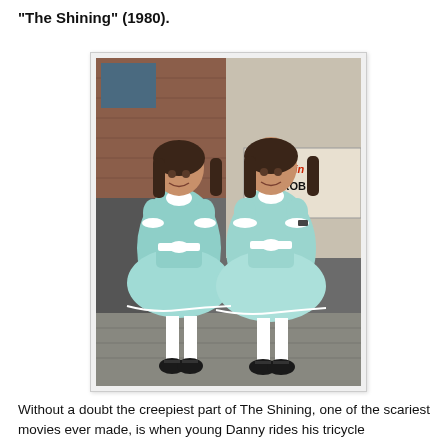"The Shining" (1980).
[Figure (photo): Two young girls dressed in identical light blue dresses with white sashes/bows, standing side by side, smiling. In the background is a brick wall and a sign reading 'The Shining WARDROBE'. This appears to be a behind-the-scenes photo from the making of The Shining (1980).]
Without a doubt the creepiest part of The Shining, one of the scariest movies ever made, is when young Danny rides his tricycle